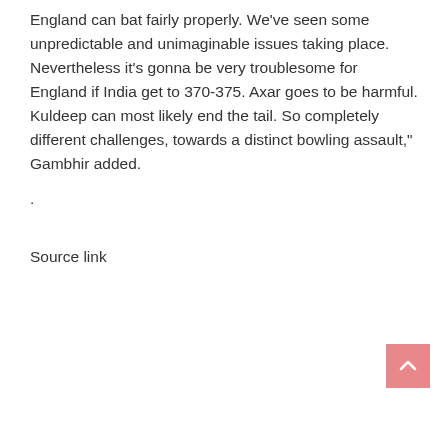England can bat fairly properly. We've seen some unpredictable and unimaginable issues taking place. Nevertheless it's gonna be very troublesome for England if India get to 370-375. Axar goes to be harmful. Kuldeep can most likely end the tail. So completely different challenges, towards a distinct bowling assault," Gambhir added.
.
Source link